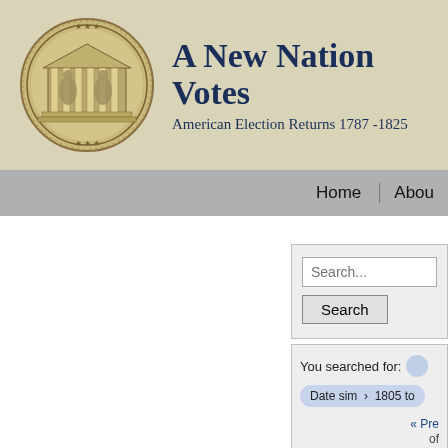[Figure (logo): American Philosophical Society seal/medallion logo, circular, showing classical building with figures]
A New Nation Votes
American Election Returns 1787-1825
Home | About
Search...
Search
You searched for:
Date sim > 1805 to
« Pre
of
Sort by title ▼